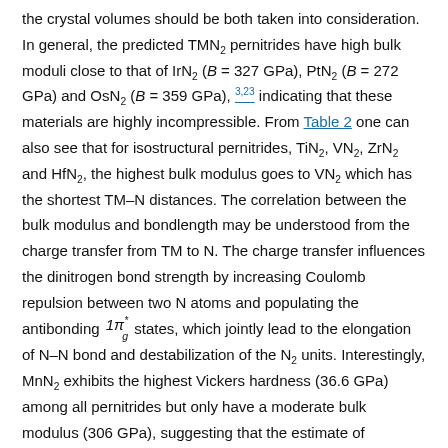the crystal volumes should be both taken into consideration. In general, the predicted TMN₂ pernitrides have high bulk moduli close to that of IrN₂ (B = 327 GPa), PtN₂ (B = 272 GPa) and OsN₂ (B = 359 GPa), 3,23 indicating that these materials are highly incompressible. From Table 2 one can also see that for isostructural pernitrides, TiN₂, VN₂, ZrN₂ and HfN₂, the highest bulk modulus goes to VN₂ which has the shortest TM–N distances. The correlation between the bulk modulus and bondlength may be understood from the charge transfer from TM to N. The charge transfer influences the dinitrogen bond strength by increasing Coulomb repulsion between two N atoms and populating the antibonding 1π*g states, which jointly lead to the elongation of N–N bond and destabilization of the N₂ units. Interestingly, MnN₂ exhibits the highest Vickers hardness (36.6 GPa) among all pernitrides but only have a moderate bulk modulus (306 GPa), suggesting that the estimate of hardness goes far beyond the bulk modulus.